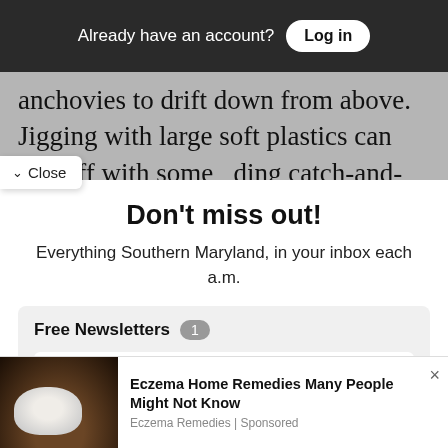Already have an account? Log in
anchovies to drift down from above. Jigging with large soft plastics can pay off with some ding catch-and-release action.
✓ Close
Don't miss out!
Everything Southern Maryland, in your inbox each a.m.
Free Newsletters 1
✓ Daily Digest
A roundup of the latest news
Eczema Home Remedies Many People Might Not Know
Eczema Remedies | Sponsored